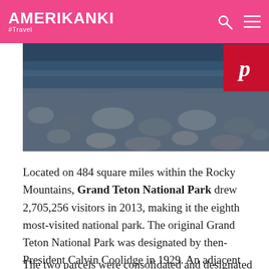AMERIKANKI #Travel
[Figure (photo): Landscape photo showing a rocky riverbed or lake bottom with stones visible through shallow water, with dark water and reflections visible above]
Located on 484 square miles within the Rocky Mountains, Grand Teton National Park drew 2,705,256 visitors in 2013, making it the eighth most-visited national park. The original Grand Teton National Park was designated by then-President Calvin Coolidge in 1929. An adjacent parcel, Jackson Hole Monument, includes a 35,000-acre section donated by John D. Rockefeller Jr. in 1943.
The two parcels were consolidated and designated